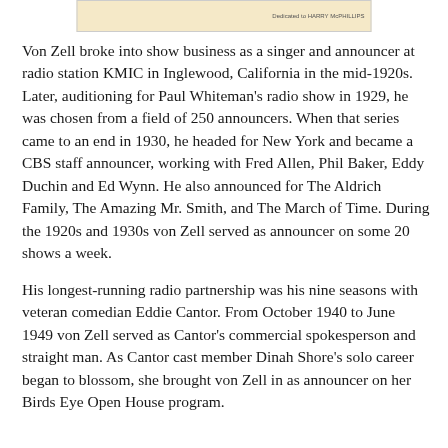[Figure (photo): Top strip image, partially visible, appears to be a historical photograph with a caption label on the right side]
Von Zell broke into show business as a singer and announcer at radio station KMIC in Inglewood, California in the mid-1920s. Later, auditioning for Paul Whiteman's radio show in 1929, he was chosen from a field of 250 announcers. When that series came to an end in 1930, he headed for New York and became a CBS staff announcer, working with Fred Allen, Phil Baker, Eddy Duchin and Ed Wynn. He also announced for The Aldrich Family, The Amazing Mr. Smith, and The March of Time. During the 1920s and 1930s von Zell served as announcer on some 20 shows a week.
His longest-running radio partnership was his nine seasons with veteran comedian Eddie Cantor. From October 1940 to June 1949 von Zell served as Cantor's commercial spokesperson and straight man. As Cantor cast member Dinah Shore's solo career began to blossom, she brought von Zell in as announcer on her Birds Eye Open House program.